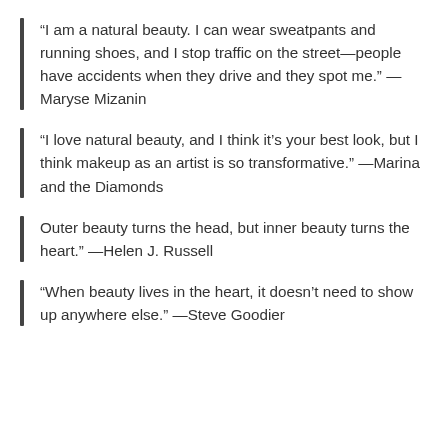“I am a natural beauty. I can wear sweatpants and running shoes, and I stop traffic on the street—people have accidents when they drive and they spot me.” —Maryse Mizanin
“I love natural beauty, and I think it’s your best look, but I think makeup as an artist is so transformative.” —Marina and the Diamonds
Outer beauty turns the head, but inner beauty turns the heart.” —Helen J. Russell
“When beauty lives in the heart, it doesn’t need to show up anywhere else.” —Steve Goodier